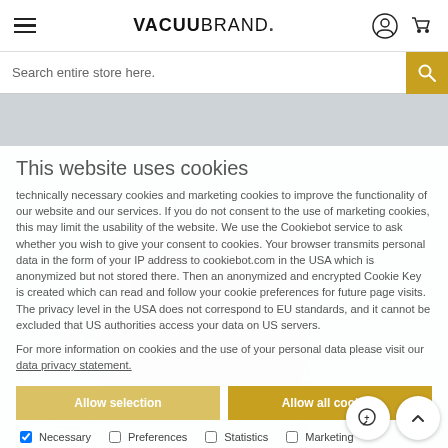VACUUBRAND.
Search entire store here.
This website uses cookies
technically necessary cookies and marketing cookies to improve the functionality of our website and our services. If you do not consent to the use of marketing cookies, this may limit the usability of the website. We use the Cookiebot service to ask whether you wish to give your consent to cookies. Your browser transmits personal data in the form of your IP address to cookiebot.com in the USA which is anonymized but not stored there. Then an anonymized and encrypted Cookie Key is created which can read and follow your cookie preferences for future page visits. The privacy level in the USA does not correspond to EU standards, and it cannot be excluded that US authorities access your data on US servers.
For more information on cookies and the use of your personal data please visit our data privacy statement.
[Figure (photo): VACUUBRAND PC 600 Series vacuum pump with digital display showing 44.9, blue and grey lab equipment]
Allow selection
Allow all cookies
Necessary  Preferences  Statistics  Marketing